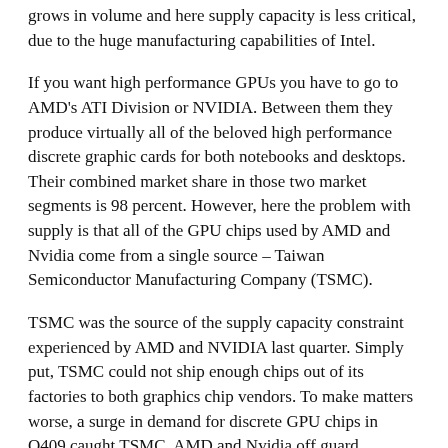grows in volume and here supply capacity is less critical, due to the huge manufacturing capabilities of Intel.
If you want high performance GPUs you have to go to AMD's ATI Division or NVIDIA. Between them they produce virtually all of the beloved high performance discrete graphic cards for both notebooks and desktops. Their combined market share in those two market segments is 98 percent. However, here the problem with supply is that all of the GPU chips used by AMD and Nvidia come from a single source – Taiwan Semiconductor Manufacturing Company (TSMC).
TSMC was the source of the supply capacity constraint experienced by AMD and NVIDIA last quarter. Simply put, TSMC could not ship enough chips out of its factories to both graphics chip vendors. To make matters worse, a surge in demand for discrete GPU chips in Q409 caught TSMC, AMD and Nvidia off guard.
But demand explains only part of the problem that affected AMD and Nvidia's results in Q409. The other part of the problem is